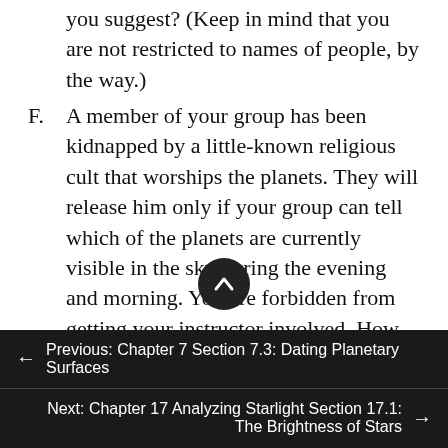you suggest? (Keep in mind that you are not restricted to names of people, by the way.)
F. A member of your group has been kidnapped by a little-known religious cult that worships the planets. They will release him only if your group can tell which of the planets are currently visible in the sky during the evening and morning. You are forbidden from getting your instructor involved. How and where else could you find out the information you need? (Be as specific as you can, your instructor says
← Previous: Chapter 7 Section 7.3: Dating Planetary Surfaces
Next: Chapter 17 Analyzing Starlight Section 17.1: The Brightness of Stars →